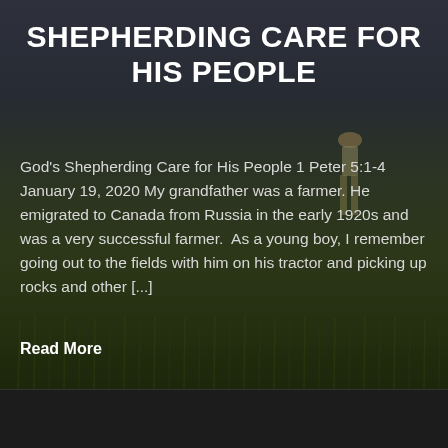SHEPHERDING CARE FOR HIS PEOPLE
God's Shepherding Care for His People 1 Peter 5:1-4 January 19, 2020 My grandfather was a farmer. He emigrated to Canada from Russia in the early 1920s and was a very successful farmer.  As a young boy, I remember going out to the fields with him on his tractor and picking up rocks and other [...]
Read More